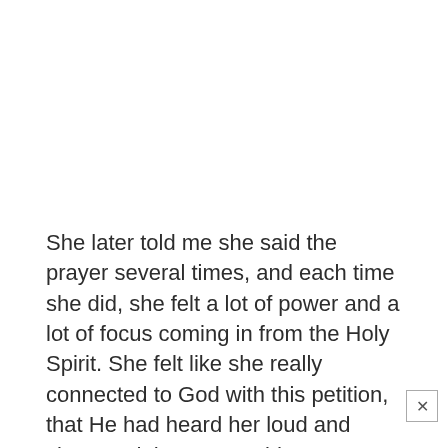She later told me she said the prayer several times, and each time she did, she felt a lot of power and a lot of focus coming in from the Holy Spirit. She felt like she really connected to God with this petition, that He had heard her loud and clear, and that He would now move within His time frame to take care of this unjust lawsuit.
In this prayer, I also had her ask God to grant